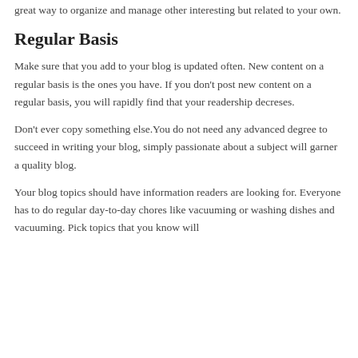great way to organize and manage other interesting but related to your own.
Regular Basis
Make sure that you add to your blog is updated often. New content on a regular basis is the ones you have. If you don't post new content on a regular basis, you will rapidly find that your readership decreses.
Don't ever copy something else.You do not need any advanced degree to succeed in writing your blog, simply passionate about a subject will garner a quality blog.
Your blog topics should have information readers are looking for. Everyone has to do regular day-to-day chores like vacuuming or washing dishes and vacuuming. Pick topics that you know will